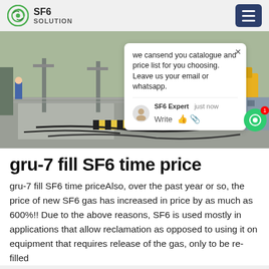SF6 SOLUTION
[Figure (photo): Outdoor electrical substation or industrial site with cables on ground, poles, fencing, and yellow equipment in background]
gru-7 fill SF6 time price
gru-7 fill SF6 time priceAlso, over the past year or so, the price of new SF6 gas has increased in price by as much as 600%!! Due to the above reasons, SF6 is used mostly in applications that allow reclamation as opposed to using it on equipment that requires release of the gas, only to be re-filled